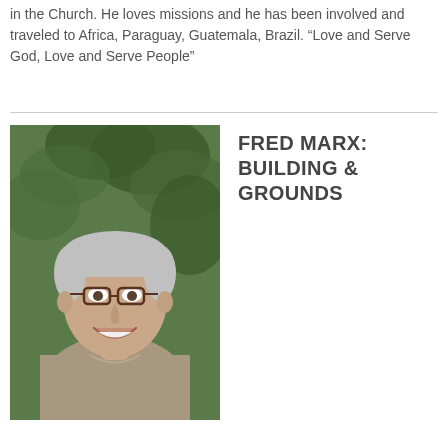in the Church. He loves missions and he has been involved and traveled to Africa, Paraguay, Guatemala, Brazil. “Love and Serve God, Love and Serve People”
[Figure (photo): Portrait photo of Fred Marx, an elderly man with short gray hair wearing glasses and a gray polo shirt, smiling, with green foliage in the background.]
FRED MARX: BUILDING & GROUNDS